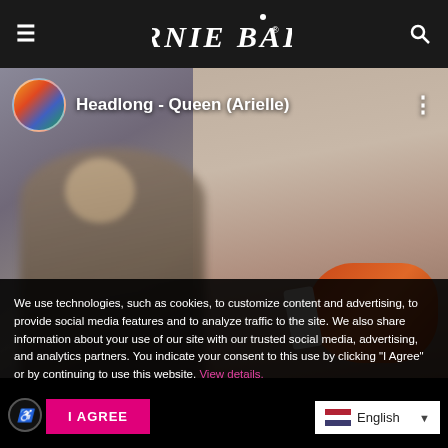ERNIE BALL®
[Figure (screenshot): Video thumbnail showing two people, one holding an orange guitar, with overlay text 'Headlong - Queen (Arielle)' and a circular avatar icon]
We use technologies, such as cookies, to customize content and advertising, to provide social media features and to analyze traffic to the site. We also share information about your use of our site with our trusted social media, advertising, and analytics partners. You indicate your consent to this use by clicking "I Agree" or by continuing to use this website. View details.
I AGREE
English